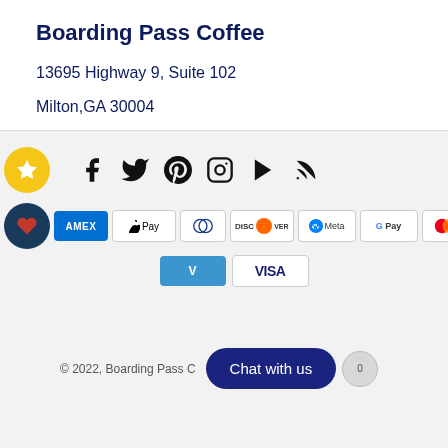Boarding Pass Coffee
13695 Highway 9, Suite 102
Milton,GA 30004
[Figure (infographic): Social media icons row: yellow star button, Facebook, Twitter, Pinterest, Instagram, YouTube, RSS feed icons]
[Figure (infographic): Payment method logos: AMEX, Apple Pay, Diners Club, Discover, Meta Pay, Google Pay, Mastercard, PayPal, OPay, Venmo, Visa]
© 2022, Boarding Pass C...